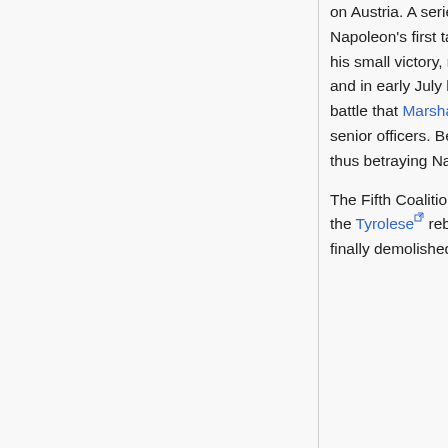on Austria. A series of relatively minor battles ensued until the massive Battle of Aspern-Essling - Napoleon's first tactical defeat. Failure by the Austrian commander, Archduke Karl, to follow up on his small victory, meant that Napoleon was able to prepare for a renewed attempt to seize Vienna and in early July he did so. He defeated the Austrians at Wagram, on July 5-6. It was during this battle that Marshal Bernadotte was stripped of his title and ridiculed by Napoleon in front of other senior officers. Bernadotte was offered the vacant position of Crown Prince of Sweden and took this, thus betraying Napoleon. Later he would actively participate in wars against his former Emperor.
The Fifth Coalition was ended by the Treaty of Schönbrunn (October 14, 1809). In the east only the Tyrolese rebels led by Andreas Hofer continued to fight the French-Bavarian army until being finally demolished in November 1809, while in the west the Peninsular War continued.